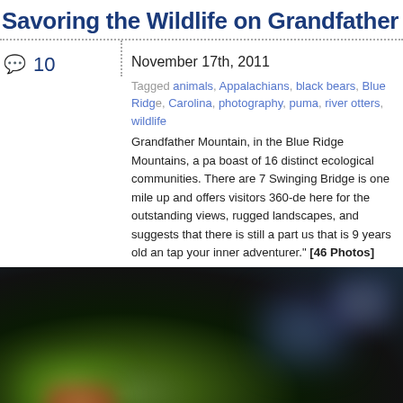Savoring the Wildlife on Grandfather Mo
10
November 17th, 2011
Tagged animals, Appalachians, black bears, Blue Ridge, Carolina, photography, puma, river otters, wildlife
Grandfather Mountain, in the Blue Ridge Mountains, a pa boast of 16 distinct ecological communities. There are 7 Swinging Bridge is one mile up and offers visitors 360-de here for the outstanding views, rugged landscapes, and suggests that there is still a part us that is 9 years old an tap your inner adventurer." [46 Photos]
[Figure (photo): Blurry dark nature photograph with bokeh lights, green and reddish plant material in foreground against a dark background with blue light]